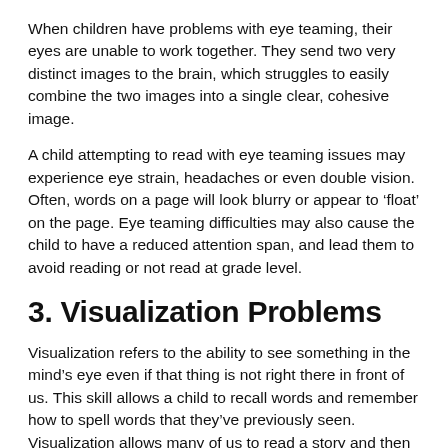When children have problems with eye teaming, their eyes are unable to work together. They send two very distinct images to the brain, which struggles to easily combine the two images into a single clear, cohesive image.
A child attempting to read with eye teaming issues may experience eye strain, headaches or even double vision.  Often, words on a page will look blurry or appear to 'float' on the page. Eye teaming difficulties may also cause the child to have a reduced attention span, and lead them to avoid reading or not read at grade level.
3. Visualization Problems
Visualization refers to the ability to see something in the mind's eye even if that thing is not right there in front of us. This skill allows a child to recall words and remember how to spell words that they've previously seen. Visualization allows many of us to read a story and then 'see' the characters and events play through our mind as if we are watching a film.
For some children, however, this doesn't happen. The brain has a